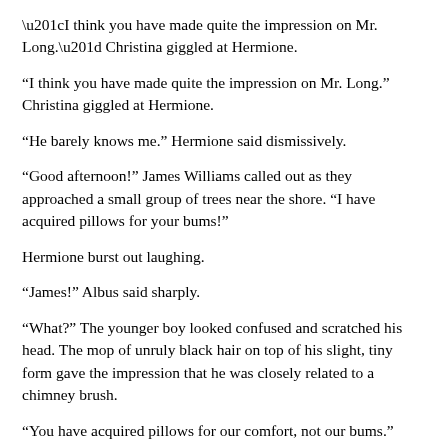“I think you have made quite the impression on Mr. Long.” Christina giggled at Hermione.
“He barely knows me.” Hermione said dismissively.
“Good afternoon!” James Williams called out as they approached a small group of trees near the shore. “I have acquired pillows for your bums!”
Hermione burst out laughing.
“James!” Albus said sharply.
“What?” The younger boy looked confused and scratched his head. The mop of unruly black hair on top of his slight, tiny form gave the impression that he was closely related to a chimney brush.
“You have acquired pillows for our comfort, not our bums.” Hermione laughed.
“And never talk about a ladies backside.” Christina added, peering around to see if anyone had heard.
“Why not? Everyone’s got a bum.” James looked at them innocently.